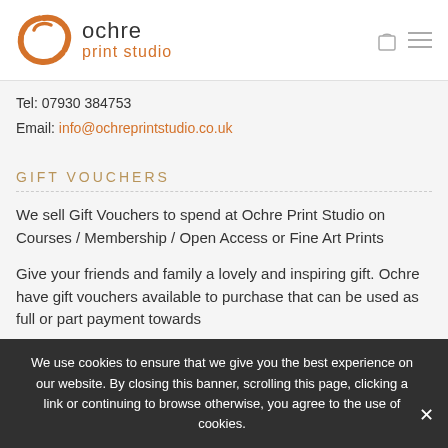[Figure (logo): Ochre Print Studio logo with orange circular brushstroke and wordmark]
Tel: 07930 384753
Email: info@ochreprintstudio.co.uk
GIFT VOUCHERS
We sell Gift Vouchers to spend at Ochre Print Studio on Courses / Membership / Open Access or Fine Art Prints
Give your friends and family a lovely and inspiring gift. Ochre have gift vouchers available to purchase that can be used as full or part payment towards
We use cookies to ensure that we give you the best experience on our website. By closing this banner, scrolling this page, clicking a link or continuing to browse otherwise, you agree to the use of cookies.